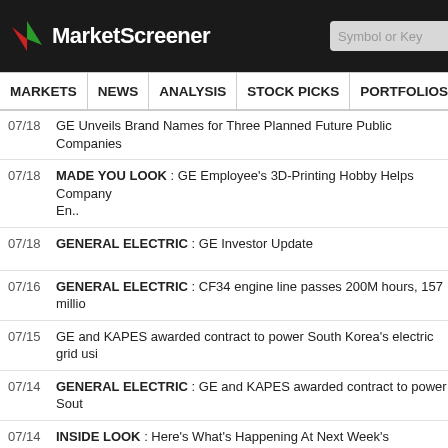[Figure (logo): MarketScreener logo with red and green arrow triangles on black background, with Symbol or Key search box]
MARKETS NEWS ANALYSIS STOCK PICKS PORTFOLIOS WATCHLI
07/18 GE Unveils Brand Names for Three Planned Future Public Companies
07/18 MADE YOU LOOK : GE Employee's 3D-Printing Hobby Helps Company En..
07/18 GENERAL ELECTRIC : GE Investor Update
07/16 GENERAL ELECTRIC : CF34 engine line passes 200M hours, 157 millio
07/15 GE and KAPES awarded contract to power South Korea's electric grid usi
07/14 GENERAL ELECTRIC : GE and KAPES awarded contract to power Sout
07/14 INSIDE LOOK : Here's What's Happening At Next Week's Farnborough A
07/13 MICHIGAN MOMENTUM : The Wolverine State Is Moving Toward Natura
07/12 General Electric - Indeck Niles Energy Center Adds Over 1 Gigawatt of Po
07/12 GENERAL ELECTRIC : GE's g3 technology accelerates Denmark's deca
07/12 GENERAL ELECTRIC : GE Renewable Energy and Arafura Resources s Understand..
07/11 GENERAL ELECTRIC : Indeck Niles Energy Center Adds Over 1 Gigawa
07/08 GE Gas Power To Acquire Nexus Controls from Baker Hughes, Expanding